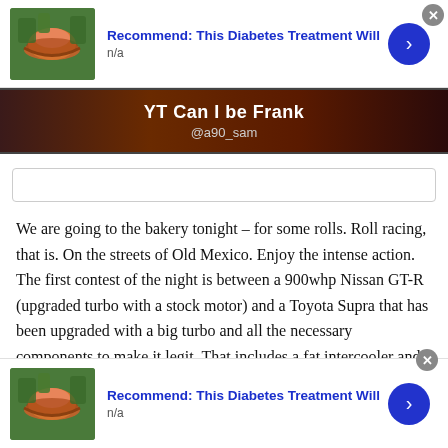[Figure (infographic): Advertisement banner: fruit bowl image thumbnail, title 'Recommend: This Diabetes Treatment Will', subtitle 'n/a', blue arrow button, close X button]
[Figure (screenshot): YouTube channel banner with text 'YT Can I be Frank' and handle '@a90_sam' on dark reddish-brown background]
[Figure (other): Empty search/input box]
We are going to the bakery tonight – for some rolls. Roll racing, that is. On the streets of Old Mexico. Enjoy the intense action. The first contest of the night is between a 900whp Nissan GT-R (upgraded turbo with a stock motor) and a Toyota Supra that has been upgraded with a big turbo and all the necessary components to make it legit. That includes a fat intercooler and a performance fuel system (injectors and high-volume pumps). We're looking at an overhead view as the
[Figure (infographic): Advertisement banner (bottom): fruit bowl image thumbnail, title 'Recommend: This Diabetes Treatment Will', subtitle 'n/a', blue arrow button, close X button]